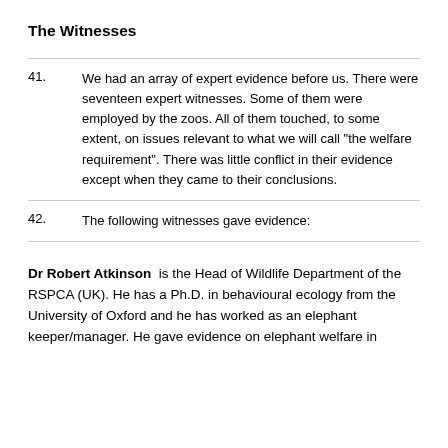The Witnesses
41. We had an array of expert evidence before us. There were seventeen expert witnesses. Some of them were employed by the zoos. All of them touched, to some extent, on issues relevant to what we will call "the welfare requirement". There was little conflict in their evidence except when they came to their conclusions.
42. The following witnesses gave evidence:
Dr Robert Atkinson is the Head of Wildlife Department of the RSPCA (UK). He has a Ph.D. in behavioural ecology from the University of Oxford and he has worked as an elephant keeper/manager. He gave evidence on elephant welfare in